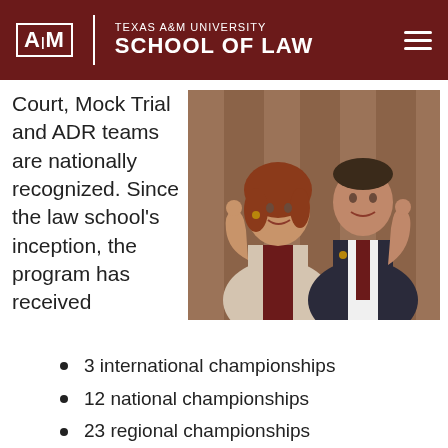Texas A&M University School of Law
Court, Mock Trial and ADR teams are nationally recognized. Since the law school's inception, the program has received
[Figure (photo): Two people giving thumbs up, a woman in a light blazer and a man in a dark suit with a maroon tie, standing in front of wood-paneled wall]
3 international championships
12 national championships
23 regional championships